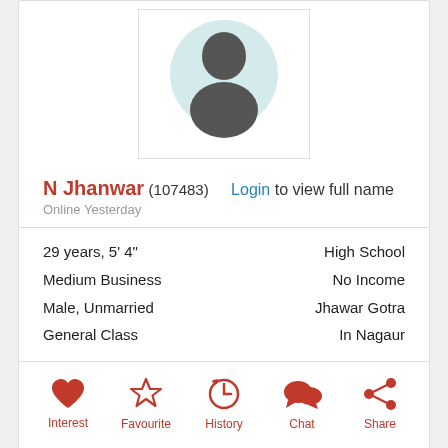[Figure (photo): Default avatar silhouette placeholder image inside a white bordered box]
N Jhanwar (107483) Login to view full name
Online Yesterday
29 years, 5' 4"
Medium Business
Male, Unmarried
General Class
High School
No Income
Jhawar Gotra
In Nagaur
Interest
Favourite
History
Chat
Share
[Figure (photo): Second default avatar silhouette placeholder image inside a white bordered box, partially visible]